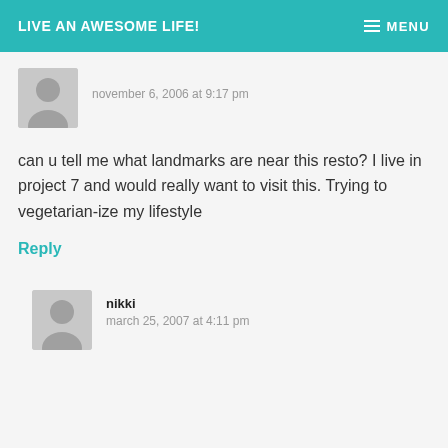LIVE AN AWESOME LIFE! | MENU
november 6, 2006 at 9:17 pm
can u tell me what landmarks are near this resto? I live in project 7 and would really want to visit this. Trying to vegetarian-ize my lifestyle
Reply
nikki
march 25, 2007 at 4:11 pm